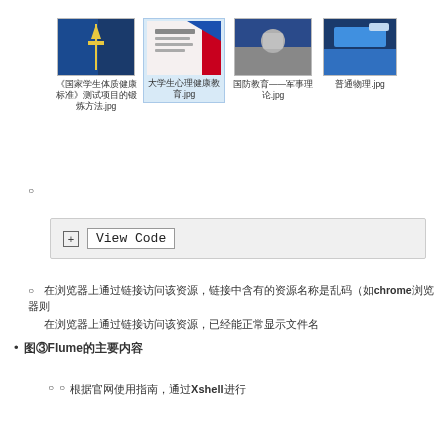[Figure (screenshot): Four image thumbnails showing course materials: 《国家学生体质健康标准》测试项目的锻炼方法.jpg, 大学生心理健康教育.jpg (selected/highlighted), 国防教育——军事理论.jpg, 普通物理.jpg]
○
[Figure (screenshot): Collapsed code block UI element showing '⊞ View Code' button in a grey box]
○ 在浏览器上通过链接访问该资源，链接中含有的资源名称是乱码（如chrome浏览器则
在浏览器上通过链接访问该资源，已经能正常显示文件名
● 图③Flume的主要内容
○ ○ 根据官网使用指南，通过Xshell进行